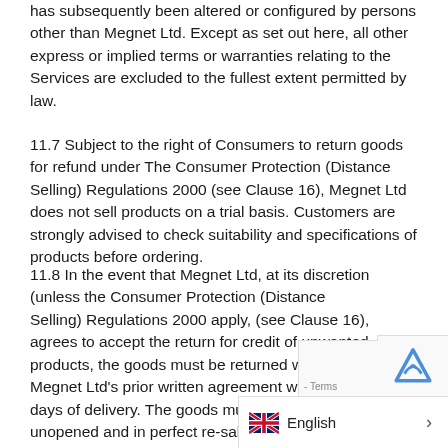has subsequently been altered or configured by persons other than Megnet Ltd. Except as set out here, all other express or implied terms or warranties relating to the Services are excluded to the fullest extent permitted by law.
11.7 Subject to the right of Consumers to return goods for refund under The Consumer Protection (Distance Selling) Regulations 2000 (see Clause 16), Megnet Ltd does not sell products on a trial basis. Customers are strongly advised to check suitability and specifications of products before ordering.
11.8 In the event that Megnet Ltd, at its discretion (unless the Consumer Protection (Distance Selling) Regulations 2000 apply, (see Clause 16), agrees to accept the return for credit of unwanted products, the goods must be returned with Megnet Ltd's prior written agreement within 7 days of delivery. The goods must be unopened and in perfect re-saleable condition. All goods returned in these circumsta...